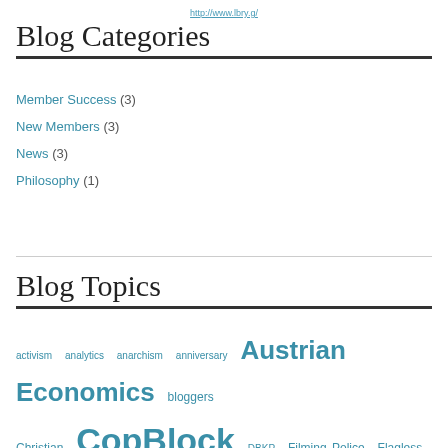http://www.lbry.g/
Blog Categories
Member Success (3)
New Members (3)
News (3)
Philosophy (1)
Blog Topics
activism analytics anarchism anniversary Austrian Economics bloggers Christian CopBlock DBKP Filming Police Flagless Hans Economics liberty members movement Poll Ranking Ron Paul store support swag